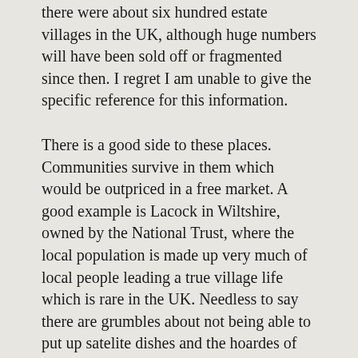there were about six hundred estate villages in the UK, although huge numbers will have been sold off or fragmented since then. I regret I am unable to give the specific reference for this information.
There is a good side to these places. Communities survive in them which would be outpriced in a free market. A good example is Lacock in Wiltshire, owned by the National Trust, where the local population is made up very much of local people leading a true village life which is rare in the UK. Needless to say there are grumbles about not being able to put up satelite dishes and the hoardes of tourists, as there would be anywhere, but the one real complaint I get from the locals is the claustrophobia arising from everyone knowing everyone else and everyone knowing your business. But that is people not landlords.